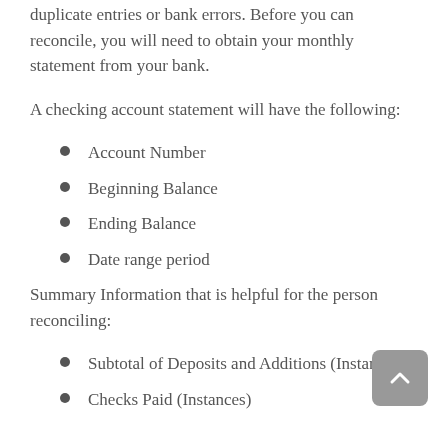duplicate entries or bank errors. Before you can reconcile, you will need to obtain your monthly statement from your bank.
A checking account statement will have the following:
Account Number
Beginning Balance
Ending Balance
Date range period
Summary Information that is helpful for the person reconciling:
Subtotal of Deposits and Additions (Instances)
Checks Paid (Instances)